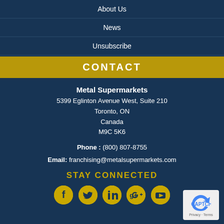About Us
News
Unsubscribe
CONTACT
Metal Supermarkets
5399 Eglinton Avenue West, Suite 210
Toronto, ON
Canada
M9C 5K6
Phone : (800) 807-8755
Email: franchising@metalsupermarkets.com
STAY CONNECTED
[Figure (illustration): Row of five social media icons: Facebook, Twitter, LinkedIn, Google+, YouTube — gold circles on dark blue background]